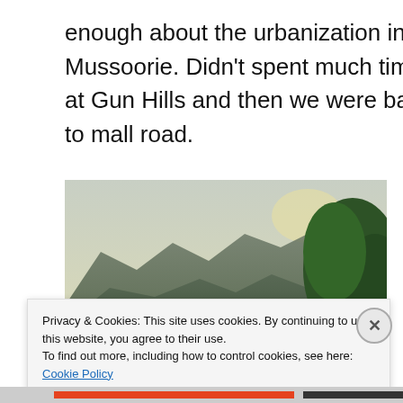enough about the urbanization in Mussoorie. Didn't spent much time at Gun Hills and then we were back to mall road.
[Figure (photo): Aerial view of hillside town (Mussoorie) with buildings having red roofs nestled among dense green trees, with mountain ridges and hazy sky in the background.]
Privacy & Cookies: This site uses cookies. By continuing to use this website, you agree to their use.
To find out more, including how to control cookies, see here: Cookie Policy
Close and accept